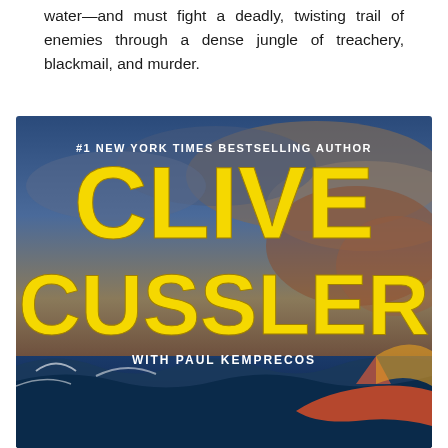water—and must fight a deadly, twisting trail of enemies through a dense jungle of treachery, blackmail, and murder.
[Figure (photo): Book cover of a Clive Cussler novel co-authored with Paul Kemprecos. The cover features large yellow bold text 'CLIVE CUSSLER' dominating the center, with '#1 NEW YORK TIMES BESTSELLING AUTHOR' at the top in white, and 'WITH PAUL KEMPRECOS' below the author name. The background depicts a stormy ocean scene with waves, dramatic sky, and what appears to be a boat or watercraft at the bottom.]